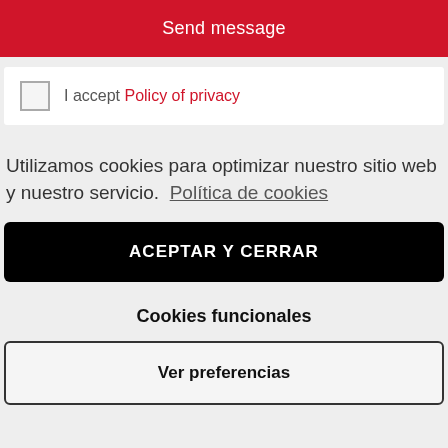Send message
I accept Policy of privacy
Utilizamos cookies para optimizar nuestro sitio web y nuestro servicio.  Política de cookies
ACEPTAR Y CERRAR
Cookies funcionales
Ver preferencias